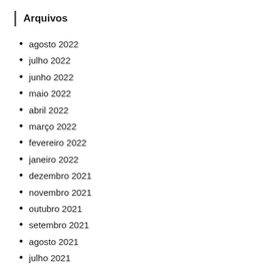Arquivos
agosto 2022
julho 2022
junho 2022
maio 2022
abril 2022
março 2022
fevereiro 2022
janeiro 2022
dezembro 2021
novembro 2021
outubro 2021
setembro 2021
agosto 2021
julho 2021
junho 2021
maio 2021